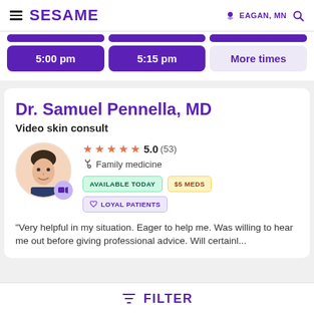SESAME — EAGAN, MN
5:00 pm
5:15 pm
More times
Dr. Samuel Pennella, MD
Video skin consult
[Figure (photo): Headshot of Dr. Samuel Pennella, MD, smiling, with a video camera badge icon]
5.0 (53) — Family medicine — AVAILABLE TODAY — $5 MEDS — LOYAL PATIENTS
"Very helpful in my situation. Eager to help me. Was willing to hear me out before giving professional advice. Will certainl...
FILTER